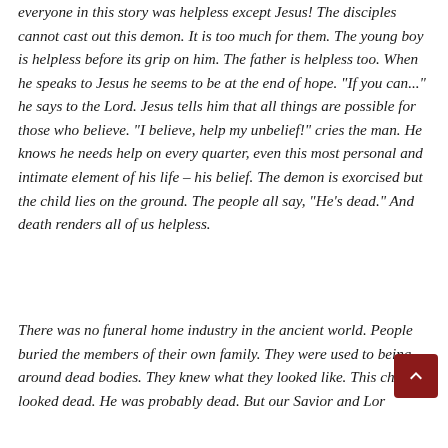everyone in this story was helpless except Jesus! The disciples cannot cast out this demon. It is too much for them. The young boy is helpless before its grip on him. The father is helpless too. When he speaks to Jesus he seems to be at the end of hope. "If you can..." he says to the Lord. Jesus tells him that all things are possible for those who believe. "I believe, help my unbelief!" cries the man. He knows he needs help on every quarter, even this most personal and intimate element of his life – his belief. The demon is exorcised but the child lies on the ground. The people all say, "He's dead." And death renders all of us helpless.
There was no funeral home industry in the ancient world. People buried the members of their own family. They were used to being around dead bodies. They knew what they looked like. This child looked dead. He was probably dead. But our Savior and Lord is not deterred by death. Indeed, he is according the Gospel, dead